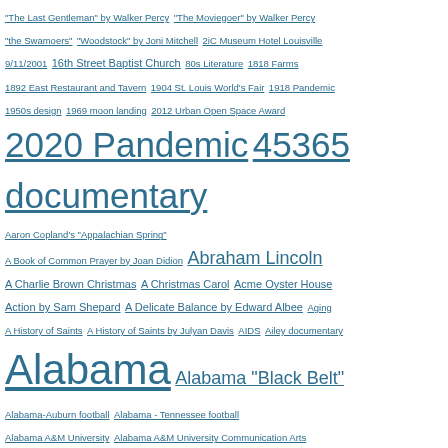"The Last Gentleman" by Walker Percy "The Moviegoer" by Walker Percy "the Swamoers" "Woodstock" by Joni Mitchell 2iC Museum Hotel Louisville 9/11/2001 16th Street Baptist Church 80s Literature 1818 Farms 1892 East Restaurant and Tavern 1904 St. Louis World's Fair 1918 Pandemic 1950s design 1969 moon landing 2012 Urban Open Space Award 2020 Pandemic 45365 documentary Aaron Copland's "Appalachian Spring" A Book of Common Prayer by Joan Didion Abraham Lincoln A Charlie Brown Christmas A Christmas Carol Acme Oyster House Action by Sam Shepard A Delicate Balance by Edward Albee Aging A History of Saints A History of Saints by Julyan Davis AIDS Ailey documentary Alabama Alabama "Black Belt" Alabama-Auburn football Alabama - Tennessee football Alabama A&M University Alabama A&M University Communication Arts Alabama architecture Alabama art and artists Alabama authors Alabama barbecue Alabama bicentennial Alabama books Alabama Canebrake Alabama Chanin Alabama Chanin Factory Alabama Chanin Friends of the Cafe Alabama Contemporary Art Center Alabama cotton Alabama Crimson Tide Alabama Farmers Market Alabama farming Alabama filmmakers Alabama folklife Alabama Folk Pottery by Joey Brackner Alabama food Alabama Forge Council Alabama fruits Alabama gardening Alabama harvest Alabama hobo Alabama Jazz Hall of Fame Alabama juke joint Alabama literature Alabama marble Alabama Moving Image Association Alabama music Alabama peaches Alabama Peanut Company Alabama plants Alabama politics Alabama quilters Alabama sauce Alabama seafood Alabama...